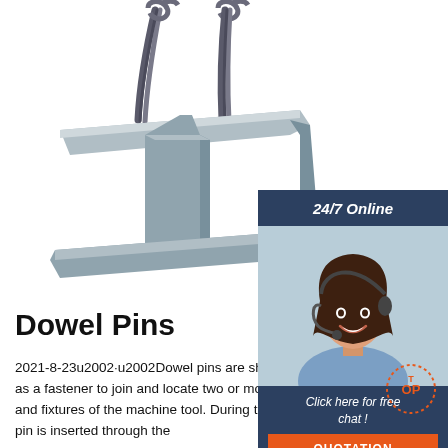[Figure (photo): I-beam steel lifting beam suspended by wire rope slings against white background]
[Figure (illustration): Sidebar chat widget with '24/7 Online' header, customer service representative photo, 'Click here for free chat!' text, and orange QUOTATION button]
Dowel Pins
2021-8-23u2002·u2002Dowel pins are short solid cylindrical rods used as a fastener to join and locate two or more parts, shafts, hinges, jigs, and fixtures of the machine tool. During the joining of the parts, a dowel pin is inserted through the
[Figure (logo): TOP circular badge/watermark in orange and dotted circle]